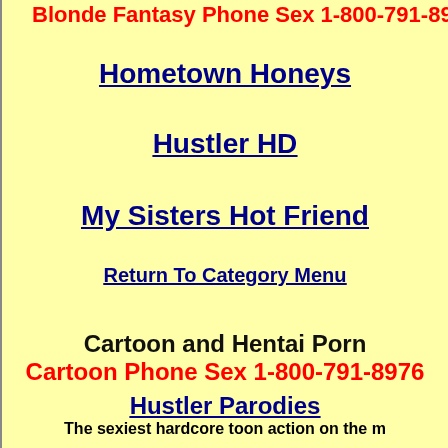Blonde Fantasy Phone Sex 1-800-791-8976
Hometown Honeys
Hustler HD
My Sisters Hot Friend
Return To Category Menu
Cartoon and Hentai Porn
Cartoon Phone Sex 1-800-791-8976
Hustler Parodies
The sexiest hardcore toon action on the m
Return To Category Menu